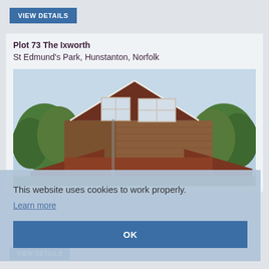VIEW DETAILS
Plot 73 The Ixworth
St Edmund's Park, Hunstanton, Norfolk
[Figure (photo): Exterior rendering of a two-storey brick house with a steep gabled roof, two upper-floor windows, red tile roof sections, and trees in the background against a blue sky.]
This website uses cookies to work properly.
Learn more
OK
VIEW DETAILS